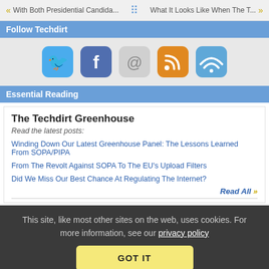« With Both Presidential Candida... :: What It Looks Like When The T... »
Follow Techdirt
[Figure (illustration): Five social media icon buttons: Twitter (blue bird), Facebook (blue f), Email (@), RSS feed (orange), and a WiFi/signal icon (blue)]
Essential Reading
The Techdirt Greenhouse
Read the latest posts:
Winding Down Our Latest Greenhouse Panel: The Lessons Learned From SOPA/PIPA
From The Revolt Against SOPA To The EU's Upload Filters
Did We Miss Our Best Chance At Regulating The Internet?
Read All »
This site, like most other sites on the web, uses cookies. For more information, see our privacy policy
GOT IT